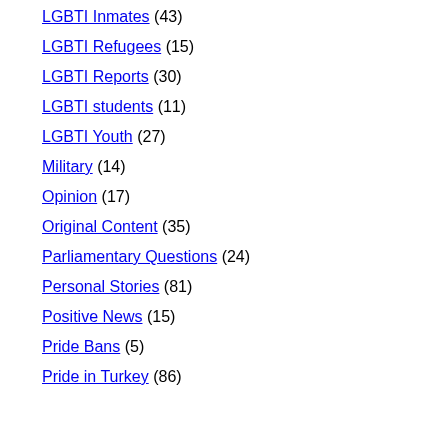LGBTI Inmates (43)
LGBTI Refugees (15)
LGBTI Reports (30)
LGBTI students (11)
LGBTI Youth (27)
Military (14)
Opinion (17)
Original Content (35)
Parliamentary Questions (24)
Personal Stories (81)
Positive News (15)
Pride Bans (5)
Pride in Turkey (86)